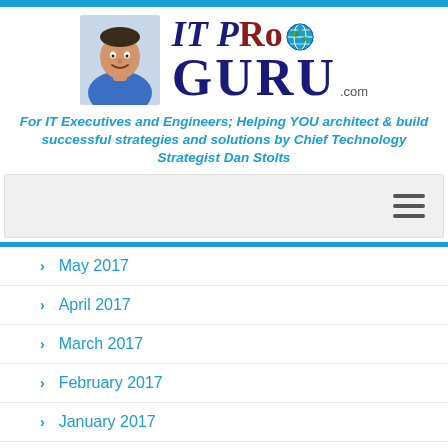[Figure (logo): IT Pro Guru logo with photo of Dan Stolts and globe icon]
For IT Executives and Engineers; Helping YOU architect & build successful strategies and solutions by Chief Technology Strategist Dan Stolts
[Figure (other): Navigation bar with hamburger menu icon]
May 2017
April 2017
March 2017
February 2017
January 2017
December 2016
November 2016